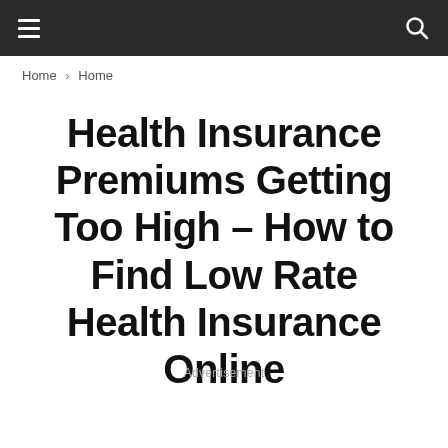≡  🔍
Home › Home
Health Insurance Premiums Getting Too High – How to Find Low Rate Health Insurance Online
Advertisement